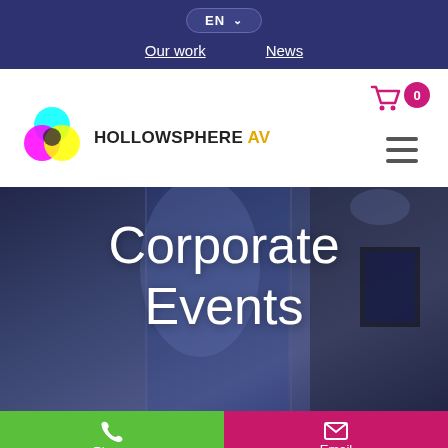EN  Our work  News
[Figure (logo): HollowSphere AV logo with overlapping cyan, magenta, yellow and black circles, text HOLLOWSPHERE AV]
Corporate Events
Phone
Email